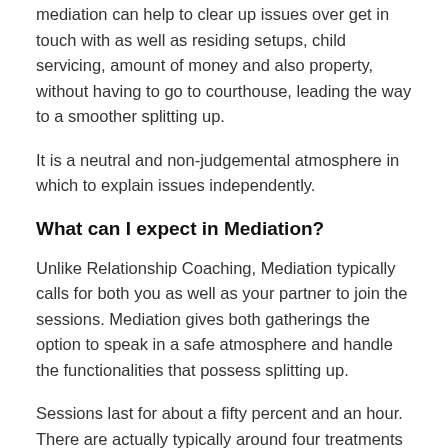mediation can help to clear up issues over get in touch with as well as residing setups, child servicing, amount of money and also property, without having to go to courthouse, leading the way to a smoother splitting up.
It is a neutral and non-judgemental atmosphere in which to explain issues independently.
What can I expect in Mediation?
Unlike Relationship Coaching, Mediation typically calls for both you as well as your partner to join the sessions. Mediation gives both gatherings the option to speak in a safe atmosphere and handle the functionalities that possess splitting up.
Sessions last for about a fifty percent and an hour. There are actually typically around four treatments